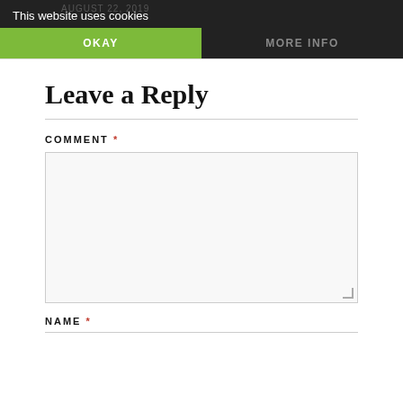This website uses cookies
OKAY
MORE INFO
Leave a Reply
COMMENT *
NAME *